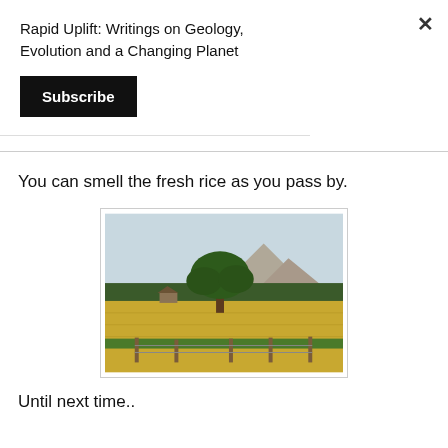Rapid Uplift: Writings on Geology, Evolution and a Changing Planet
Subscribe
You can smell the fresh rice as you pass by.
[Figure (photo): A large tree in a golden rice field with mountains and forest in the background, and wooden fence posts in the foreground.]
Until next time..